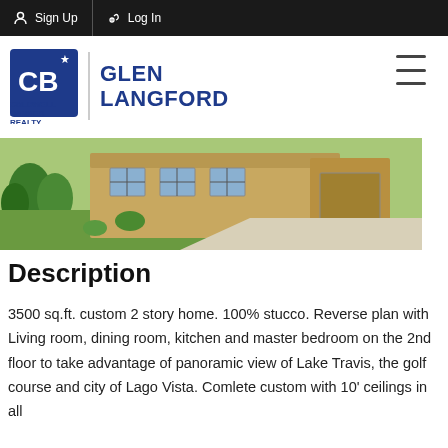Sign Up  Log In
[Figure (logo): Coldwell Banker Realty - Glen Langford logo]
[Figure (photo): Exterior photo of a single-story stucco home with landscaping and concrete driveway]
Description
3500 sq.ft. custom 2 story home. 100% stucco. Reverse plan with Living room, dining room, kitchen and master bedroom on the 2nd floor to take advantage of panoramic view of Lake Travis, the golf course and city of Lago Vista. Comlete custom with 10' ceilings in all